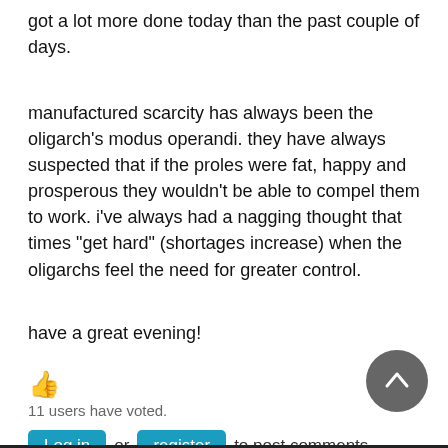got a lot more done today than the past couple of days.
manufactured scarcity has always been the oligarch's modus operandi. they have always suspected that if the proles were fat, happy and prosperous they wouldn't be able to compel them to work. i've always had a nagging thought that times "get hard" (shortages increase) when the oligarchs feel the need for greater control.
have a great evening!
👍
11 users have voted.
Log in or register to post comments